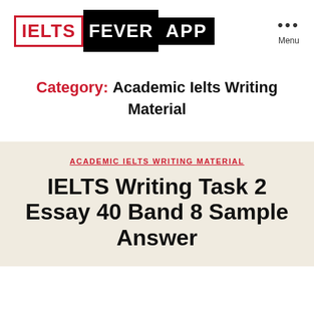[Figure (logo): IELTS FEVER APP logo with IELTS in red border, FEVER in white on black, APP in white on black]
Category: Academic Ielts Writing Material
ACADEMIC IELTS WRITING MATERIAL
IELTS Writing Task 2 Essay 40 Band 8 Sample Answer